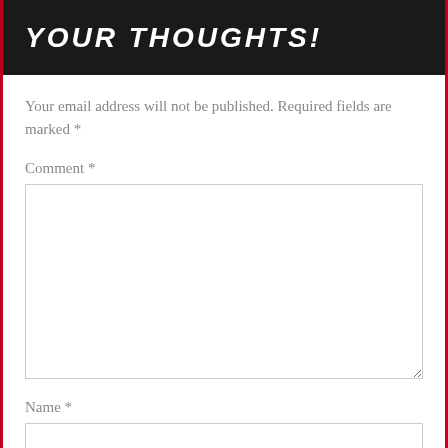Your thoughts!
Your email address will not be published. Required fields are marked *
Comment *
[Figure (other): Empty comment textarea input field]
Name *
[Figure (other): Empty name text input field]